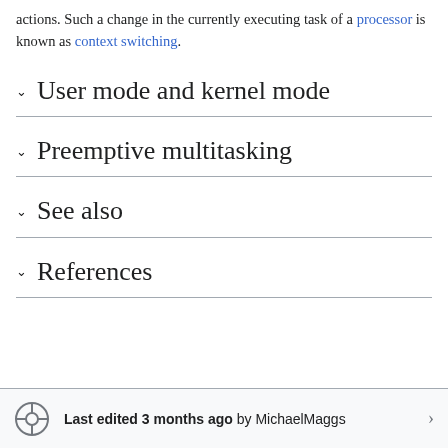actions. Such a change in the currently executing task of a processor is known as context switching.
User mode and kernel mode
Preemptive multitasking
See also
References
Last edited 3 months ago by MichaelMaggs